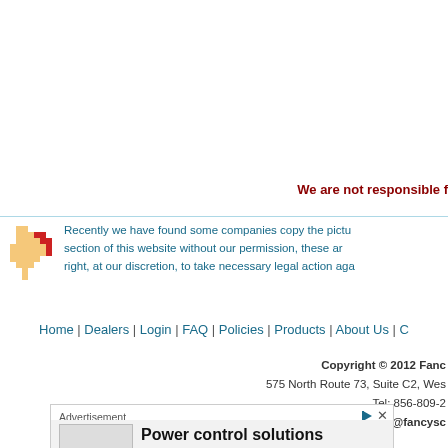We are not responsible f
Recently we have found some companies copy the pictu section of this website without our permission, these ar right, at our discretion, to take necessary legal action aga
Home | Dealers | Login | FAQ | Policies | Products | About Us | C
Copyright © 2012 Fanc 575 North Route 73, Suite C2, Wes Tel: 856-809-2 Email: info@fancysc
[Figure (screenshot): Advertisement block showing power control solutions ad with play and close controls]